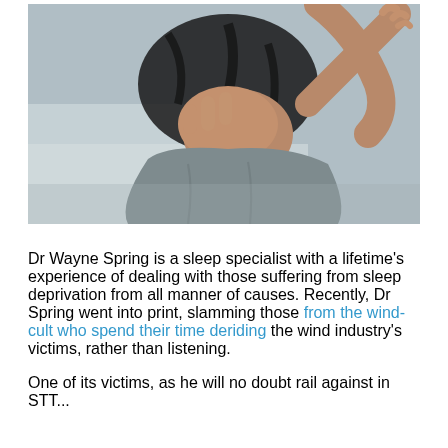[Figure (photo): A person lying down, covering their face with one hand, wearing a grey t-shirt, with dark hair. The image suggests distress or sleep deprivation.]
Dr Wayne Spring is a sleep specialist with a lifetime's experience of dealing with those suffering from sleep deprivation from all manner of causes. Recently, Dr Spring went into print, slamming those from the wind-cult who spend their time deriding the wind industry's victims, rather than listening.
One of its victims, as he will no doubt rail against in STT...